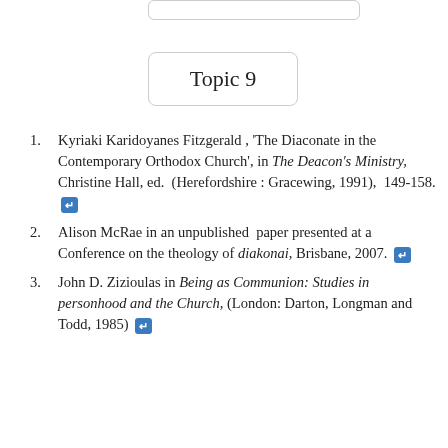Topic 9
Kyriaki Karidoyanes Fitzgerald , 'The Diaconate in the Contemporary Orthodox Church', in The Deacon's Ministry, Christine Hall, ed. (Herefordshire : Gracewing, 1991), 149-158. [↩]
Alison McRae in an unpublished paper presented at a Conference on the theology of diakonai, Brisbane, 2007. [↩]
John D. Zizioulas in Being as Communion: Studies in personhood and the Church, (London: Darton, Longman and Todd, 1985) [↩]